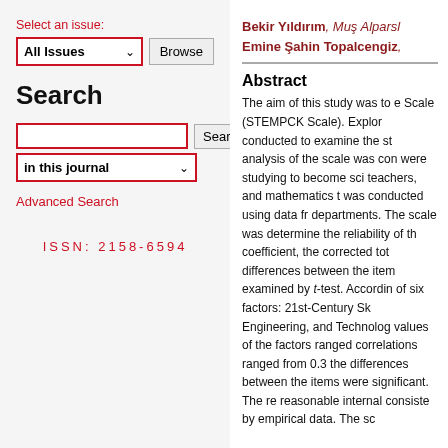Select an issue:
All Issues [dropdown] Browse
Search
[search input] Search
in this journal [dropdown]
Advanced Search
ISSN: 2158-6594
Bekir Yıldırım, Muş Alparsl... Emine Şahin Topalcengiz,
Abstract
The aim of this study was to e... Scale (STEMPCK Scale). Explor... conducted to examine the st... analysis of the scale was con... were studying to become sci... teachers, and mathematics t... was conducted using data fr... departments. The scale was ... determine the reliability of th... coefficient, the corrected tot... differences between the item... examined by t-test. Accordin... of six factors: 21st-Century Sk... Engineering, and Technolog... values of the factors ranged ... correlations ranged from 0.3... the differences between the ... items were significant. The re... reasonable internal consiste... by empirical data. The sc...